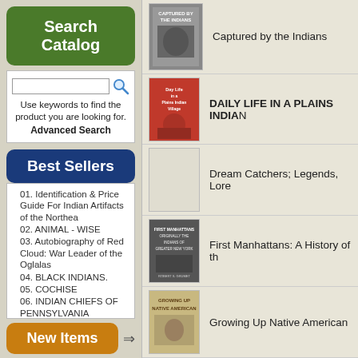Search Catalog
Use keywords to find the product you are looking for. Advanced Search
Best Sellers
01. Identification & Price Guide For Indian Artifacts of the Northea
02. ANIMAL - WISE
03. Autobiography of Red Cloud: War Leader of the Oglalas
04. BLACK INDIANS.
05. COCHISE
06. INDIAN CHIEFS OF PENNSYLVANIA
07. Lakota Myth
08. The French Indian War in Pennsylvania 1753-1763
09. THE LENAPE OR DELAWARE INDIANS
10. THE LENAPE-DELAWARE INDIAN HERITAGE
New Items
[Figure (photo): Book cover: Captured by the Indians]
Captured by the Indians
[Figure (photo): Book cover: Daily Life in a Plains Indian Village]
DAILY LIFE IN A PLAINS INDIAN
[Figure (photo): Book cover: Dream Catchers (placeholder/blank)]
Dream Catchers; Legends, Lore
[Figure (photo): Book cover: First Manhattans: A History of the Indians of Greater New York]
First Manhattans: A History of th
[Figure (photo): Book cover: Growing Up Native American]
Growing Up Native American